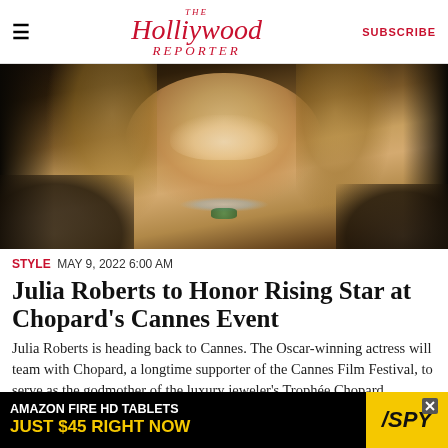≡  The Hollywood Reporter  SUBSCRIBE
[Figure (photo): A smiling blonde woman at Cannes wearing a black off-shoulder dress with a diamond and emerald necklace, surrounded by photographers]
STYLE  MAY 9, 2022 6:00 AM
Julia Roberts to Honor Rising Star at Chopard's Cannes Event
Julia Roberts is heading back to Cannes. The Oscar-winning actress will team with Chopard, a longtime supporter of the Cannes Film Festival, to serve as the godmother of the luxury jeweler's Trophée Chopard ceremony. Created in 2001, this award is doled out each
[Figure (other): Advertisement banner: Amazon Fire HD Tablets Just $45 Right Now — SPY logo]